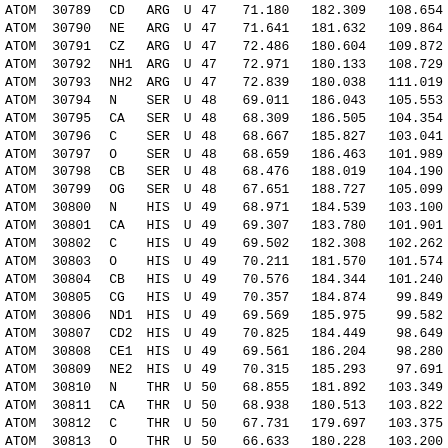| Record | Serial | Name | ResName | Chain | Seq | X | Y | Z |
| --- | --- | --- | --- | --- | --- | --- | --- | --- |
| ATOM | 30789 | CD | ARG | U | 47 | 71.180 | 182.309 | 108.654 |
| ATOM | 30790 | NE | ARG | U | 47 | 71.641 | 181.632 | 109.864 |
| ATOM | 30791 | CZ | ARG | U | 47 | 72.486 | 180.604 | 109.872 |
| ATOM | 30792 | NH1 | ARG | U | 47 | 72.971 | 180.133 | 108.729 |
| ATOM | 30793 | NH2 | ARG | U | 47 | 72.839 | 180.038 | 111.019 |
| ATOM | 30794 | N | SER | U | 48 | 69.011 | 186.043 | 105.553 |
| ATOM | 30795 | CA | SER | U | 48 | 68.309 | 186.505 | 104.354 |
| ATOM | 30796 | C | SER | U | 48 | 68.667 | 185.827 | 103.041 |
| ATOM | 30797 | O | SER | U | 48 | 68.659 | 186.463 | 101.989 |
| ATOM | 30798 | CB | SER | U | 48 | 68.476 | 188.019 | 104.190 |
| ATOM | 30799 | OG | SER | U | 48 | 67.651 | 188.727 | 105.099 |
| ATOM | 30800 | N | HIS | U | 49 | 68.971 | 184.539 | 103.100 |
| ATOM | 30801 | CA | HIS | U | 49 | 69.307 | 183.780 | 101.901 |
| ATOM | 30802 | C | HIS | U | 49 | 69.502 | 182.308 | 102.262 |
| ATOM | 30803 | O | HIS | U | 49 | 70.211 | 181.570 | 101.574 |
| ATOM | 30804 | CB | HIS | U | 49 | 70.576 | 184.344 | 101.240 |
| ATOM | 30805 | CG | HIS | U | 49 | 70.357 | 184.874 | 99.849 |
| ATOM | 30806 | ND1 | HIS | U | 49 | 69.569 | 185.975 | 99.582 |
| ATOM | 30807 | CD2 | HIS | U | 49 | 70.825 | 184.449 | 98.649 |
| ATOM | 30808 | CE1 | HIS | U | 49 | 69.561 | 186.204 | 98.280 |
| ATOM | 30809 | NE2 | HIS | U | 49 | 70.315 | 185.293 | 97.691 |
| ATOM | 30810 | N | THR | U | 50 | 68.855 | 181.892 | 103.349 |
| ATOM | 30811 | CA | THR | U | 50 | 68.938 | 180.513 | 103.822 |
| ATOM | 30812 | C | THR | U | 50 | 67.731 | 179.697 | 103.375 |
| ATOM | 30813 | O | THR | U | 50 | 66.633 | 180.228 | 103.200 |
| ATOM | 30814 | CB | THR | U | 50 | 69.021 | 180.449 | 105.366 |
| ATOM | 30815 | OG1 | THR | U | 50 | 69.157 | 179.085 | 105.785 |
| ATOM | 30816 | CG2 | THR | U | 50 | 67.767 | 181.047 | 105.993 |
| ATOM | 30817 | N | GLU | U | 51 | 67.947 | 178.401 | 103.196 |
| ATOM | 30818 | CA | GLU | U | 51 | 66.890 | 177.496 | 102.775 |